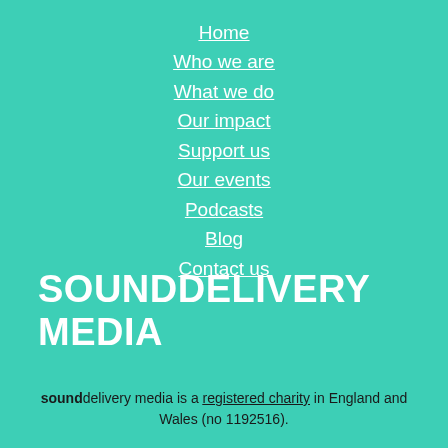Home
Who we are
What we do
Our impact
Support us
Our events
Podcasts
Blog
Contact us
SOUNDDELIVERY MEDIA
sounddelivery media is a registered charity in England and Wales (no 1192516).